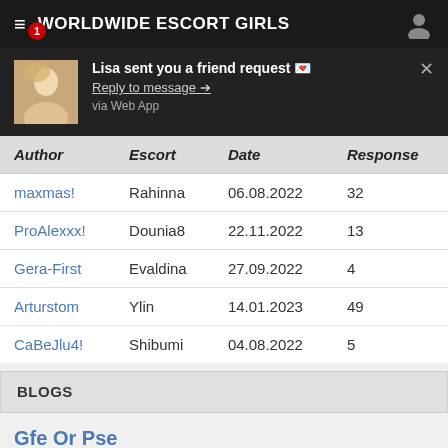WORLDWIDE ESCORT GIRLS
Lisa sent you a friend request 💌
Reply to message →
via Web App
| Author | Escort | Date | Response |
| --- | --- | --- | --- |
| maxmas! | Rahinna | 06.08.2022 | 32 |
| ProAlexxx! | Dounia8 | 22.11.2022 | 13 |
| Gera-First | Evaldina | 27.09.2022 | 4 |
| Arturstom | Ylin | 14.01.2023 | 49 |
| CaBeJlu4! | Shibumi | 04.08.2022 | 5 |
BLOGS
Gfe Or Pse
Sep. 17:56 · Yverdon